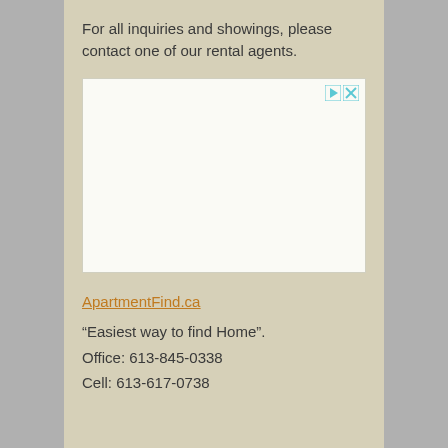For all inquiries and showings, please contact one of our rental agents.
[Figure (other): Empty advertisement placeholder box with play and close icons in top-right corner]
ApartmentFind.ca
“Easiest way to find Home”.
Office: 613-845-0338
Cell: 613-617-0738